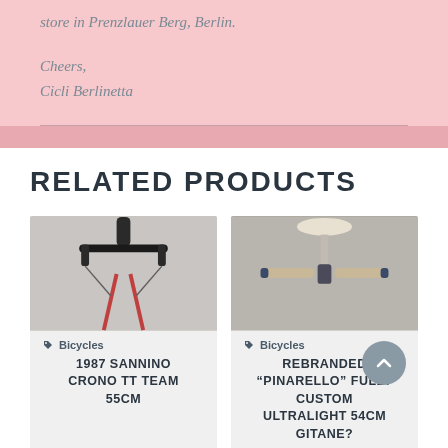store in Prenzlauer Berg, Berlin.
Cheers,
Cicli Berlinetta
RELATED PRODUCTS
[Figure (photo): Product card: bicycle viewed from above/front showing handlebars and fork. Category: Bicycles. Title: 1987 SANNINO CRONO TT TEAM 55CM]
[Figure (photo): Product card: bicycle detail showing handlebars and saddle. Category: Bicycles. Title: REBRANDED "PINARELLO" FULLY CUSTOM ULTRALIGHT 54CM GITANE?]
[Figure (photo): Partial product card at bottom left, bicycle details]
[Figure (photo): Partial product card at bottom right, bicycle details]